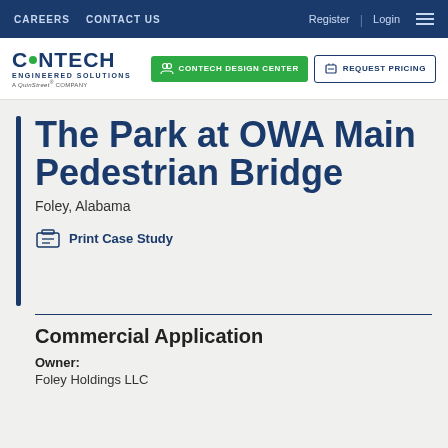CAREERS  CONTACT US    Register  |  Login
[Figure (logo): Contech Engineered Solutions - A QuinStreet Company logo with green circle in CON, CONTECH DESIGN CENTER button, REQUEST PRICING button]
The Park at OWA Main Pedestrian Bridge
Foley, Alabama
Print Case Study
Commercial Application
Owner:
Foley Holdings LLC